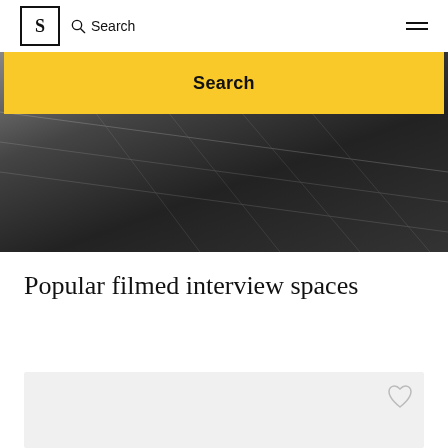S | Search ≡
[Figure (photo): Dark grayscale overhead or angled view of a floor or street surface, with a yellow search bar overlay reading 'Search']
Popular filmed interview spaces
[Figure (photo): Light gray card/thumbnail placeholder with a heart/favorite icon in the upper right corner]